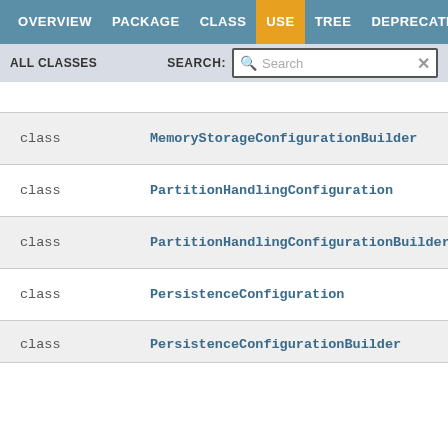OVERVIEW  PACKAGE  CLASS  USE  TREE  DEPRECATED
ALL CLASSES   SEARCH: [Search]
| Kind | Name |
| --- | --- |
| class | MemoryStorageConfigurationBuilder |
| class | PartitionHandlingConfiguration |
| class | PartitionHandlingConfigurationBuilder |
| class | PersistenceConfiguration |
| class | PersistenceConfigurationBuilder |